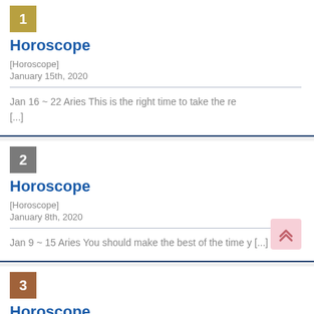1 Horoscope [Horoscope] January 15th, 2020 Jan 16 ~ 22 Aries This is the right time to take the re [...]
2 Horoscope [Horoscope] January 8th, 2020 Jan 9 ~ 15 Aries You should make the best of the time y [...]
3 Horoscope